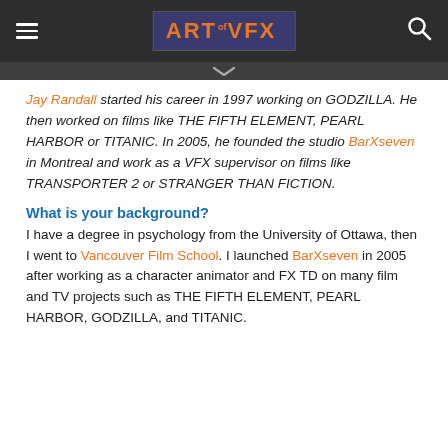ART of VFX
Jay Randall started his career in 1997 working on GODZILLA. He then worked on films like THE FIFTH ELEMENT, PEARL HARBOR or TITANIC. In 2005, he founded the studio BarXseven in Montreal and work as a VFX supervisor on films like TRANSPORTER 2 or STRANGER THAN FICTION.
What is your background?
I have a degree in psychology from the University of Ottawa, then I went to Vancouver Film School. I launched BarXseven in 2005 after working as a character animator and FX TD on many film and TV projects such as THE FIFTH ELEMENT, PEARL HARBOR, GODZILLA, and TITANIC.